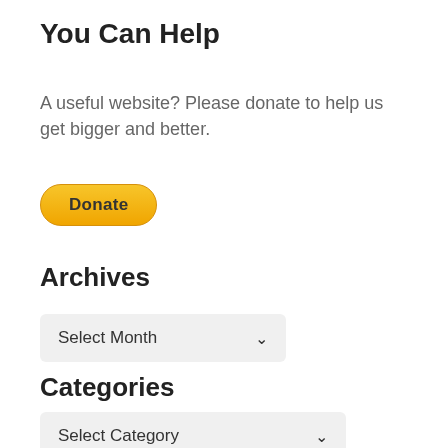You Can Help
A useful website? Please donate to help us get bigger and better.
[Figure (other): PayPal Donate button, yellow pill-shaped button with bold text 'Donate']
Archives
[Figure (other): Dropdown select box labeled 'Select Month' with a chevron arrow]
Categories
[Figure (other): Dropdown select box labeled 'Select Category' with a chevron arrow]